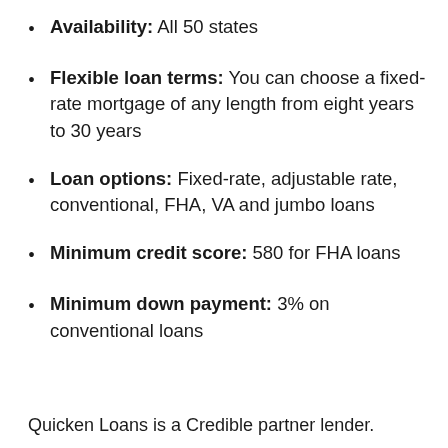Availability: All 50 states
Flexible loan terms: You can choose a fixed-rate mortgage of any length from eight years to 30 years
Loan options: Fixed-rate, adjustable rate, conventional, FHA, VA and jumbo loans
Minimum credit score: 580 for FHA loans
Minimum down payment: 3% on conventional loans
Quicken Loans is a Credible partner lender.